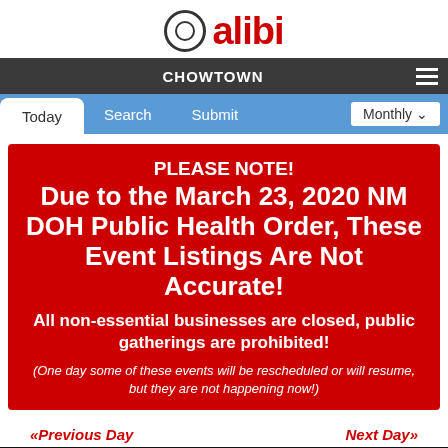[Figure (logo): Alibi logo: circle with 'a' inside, followed by red bold text 'alibi']
CHOWTOWN
Today | Search | Submit | Monthly
PLEASE NOTE! Due to the March 23, 2020 NM DOH Public Health Order, These Event Listings Are Not Accurate! All non-essential businesses are closed, public gatherings are prohibited! (One day some of these events will be rescheduled or will resume, but they are not happening now!)
«Previous Day
Next Day»
Thursday Sept 5, 2019
COMMUNITY